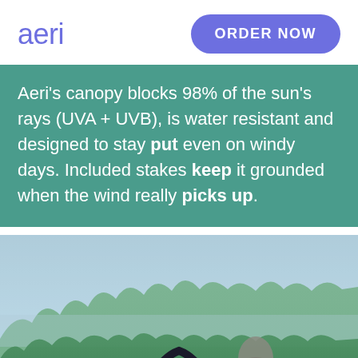aeri | ORDER NOW
Aeri's canopy blocks 98% of the sun's rays (UVA + UVB), is water resistant and designed to stay put even on windy days. Included stakes keep it grounded when the wind really picks up.
[Figure (photo): Outdoor photo showing a canopy/tent structure with dark curved frame poles set against a backdrop of green forested hills and a hazy blue-grey sky.]